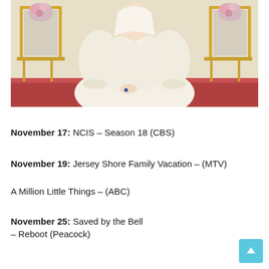[Figure (photo): A person dressed in an elaborate white/ivory wedding-style gown with puffy sleeves, lace cuffs, and a large bow at the neckline, standing in an ornate room with gold-framed mirrors and floral arrangements. Still from The Crown TV show.]
November 17: NCIS – Season 18 (CBS)
November 19: Jersey Shore Family Vacation – (MTV)
A Million Little Things – (ABC)
November 25: Saved by the Bell – Reboot (Peacock)